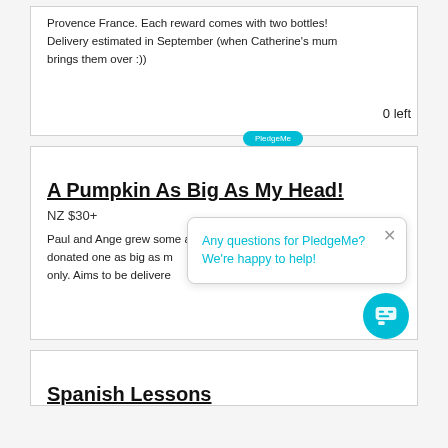Provence France. Each reward comes with two bottles! Delivery estimated in September (when Catherine's mum brings them over :))
0 left
A Pumpkin As Big As My Head!
NZ $30+
Paul and Ange grew some amazing pumpl. They've donated one as big as m… only. Aims to be delivere…
Any questions for PledgeMe? We're happy to help!
Spanish Lessons